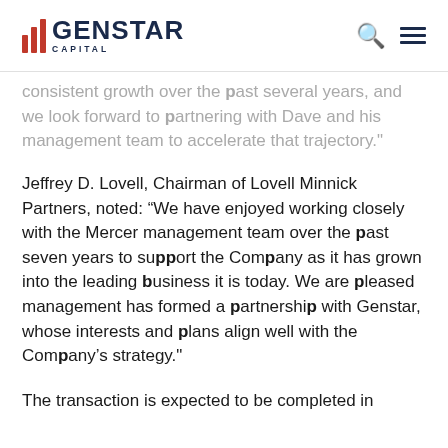GENSTAR CAPITAL
consistent growth over the past several years, and we look forward to partnering with Dave and his management team to accelerate that trajectory."
Jeffrey D. Lovell, Chairman of Lovell Minnick Partners, noted: “We have enjoyed working closely with the Mercer management team over the past seven years to support the Company as it has grown into the leading business it is today. We are pleased management has formed a partnership with Genstar, whose interests and plans align well with the Company’s strategy."
The transaction is expected to be completed in